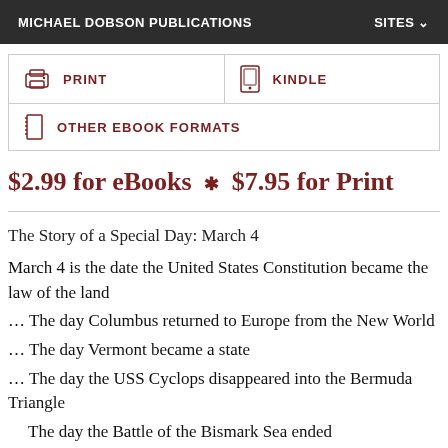MICHAEL DOBSON PUBLICATIONS   SITES
|  | PRINT |  | KINDLE |
| --- | --- | --- | --- |
| [print icon] | PRINT | [kindle icon] | KINDLE |
| [ebook icon] | OTHER EBOOK FORMATS |  |  |
$2.99 for eBooks  *  $7.95 for Print
The Story of a Special Day: March 4
March 4 is the date the United States Constitution became the law of the land
… The day Columbus returned to Europe from the New World
… The day Vermont became a state
… The day the USS Cyclops disappeared into the Bermuda Triangle
The day the Battle of the Bismark Sea ended